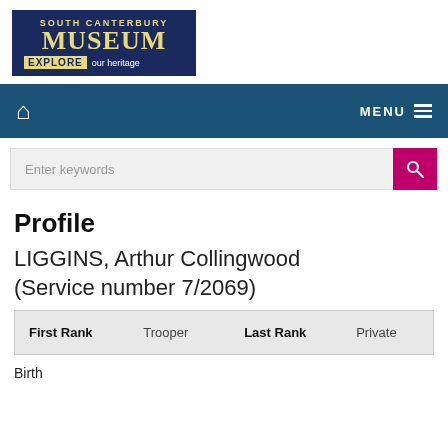[Figure (logo): South Canterbury Museum logo - dark blue box with gold text reading SOUTH CANTERBURY MUSEUM, EXPLORE our heritage]
[Figure (screenshot): Navigation bar with home icon on left and MENU hamburger icon on right, dark teal background]
[Figure (screenshot): Search bar with placeholder text 'Enter keywords' and pink search button with magnifying glass icon]
Profile
LIGGINS, Arthur Collingwood (Service number 7/2069)
| First Rank |  | Last Rank |  |
| --- | --- | --- | --- |
| Trooper |  | Private |  |
Birth